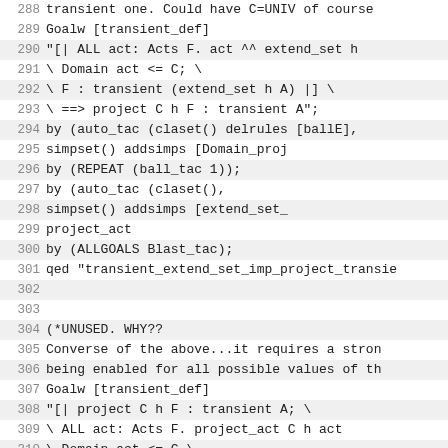288   transient one.  Could have C=UNIV of course
289 Goalw [transient_def]
290       "[| ALL act: Acts F. act ^^ extend_set h
291 \                           Domain act <= C;   \
292 \         F : transient (extend_set h A) |] \
293 \     ==> project C h F : transient A";
294 by (auto_tac (claset() delrules [ballE],
295                 simpset() addsimps [Domain_proj
296 by (REPEAT (ball_tac 1));
297 by (auto_tac (claset(),
298                 simpset() addsimps [extend_set_
299                                       project_act
300 by (ALLGOALS Blast_tac);
301 qed "transient_extend_set_imp_project_transie
302
303
304 (*UNUSED.  WHY??
305   Converse of the above...it requires a stron
306   being enabled for all possible values of th
307 Goalw [transient_def]
308       "[| project C h F : transient A;  \
309 \         ALL act: Acts F. project_act C h act
310 \                           Domain act <= C \